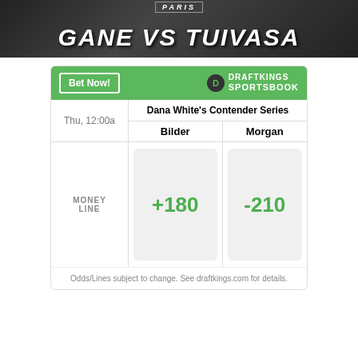[Figure (photo): UFC promotional banner for Gane vs Tuivasa event in Paris, with UFC fighters and ring girls in background, white italic text reading GANE VS TUIVASA]
|  | Dana White's Contender Series |  |
| --- | --- | --- |
| Thu, 12:00a | Bilder | Morgan |
| MONEY LINE | +180 | -210 |
Odds/Lines subject to change. See draftkings.com for details.